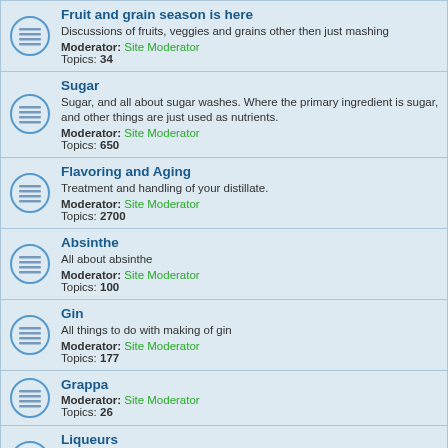Fruit and grain season is here
Discussions of fruits, veggies and grains other then just mashing
Moderator: Site Moderator
Topics: 34
Sugar
Sugar, and all about sugar washes. Where the primary ingredient is sugar, and other things are just used as nutrients.
Moderator: Site Moderator
Topics: 650
Flavoring and Aging
Treatment and handling of your distillate.
Moderator: Site Moderator
Topics: 2700
Absinthe
All about absinthe
Moderator: Site Moderator
Topics: 100
Gin
All things to do with making of gin
Moderator: Site Moderator
Topics: 177
Grappa
Moderator: Site Moderator
Topics: 26
Liqueurs
Sweetened spirits with various flavors
Moderator: Site Moderator
Topics: 44